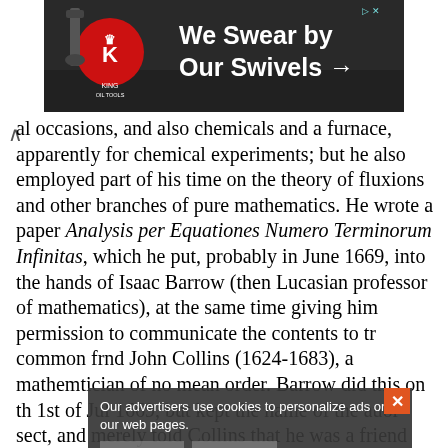[Figure (photo): Advertisement banner for King Oil Tools: 'We Swear by Our Swivels →' on dark background with logo]
al occasions, and also chemicals and a furnace, apparently for chemical experiments; but he also employed part of his time on the theory of fluxions and other branches of pure mathematics. He wrote a paper Analysis per Equationes Numero Terminorum Infinitas, which he put, probably in June 1669, into the hands of Isaac Barrow (then Lucasian professor of mathematics), at the same time giving him permission to communicate the contents to their common friend John Collins (1624-1683), a mathematician of no mean order. Barrow did this on the 31st of July 1669, but kept the name of the author secret, and merely told Collins that he was a friend staying at Cambridge, who had a powerful genius for such matters. In a